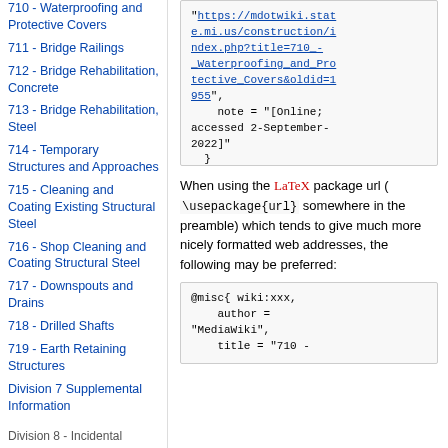710 - Waterproofing and Protective Covers
711 - Bridge Railings
712 - Bridge Rehabilitation, Concrete
713 - Bridge Rehabilitation, Steel
714 - Temporary Structures and Approaches
715 - Cleaning and Coating Existing Structural Steel
716 - Shop Cleaning and Coating Structural Steel
717 - Downspouts and Drains
718 - Drilled Shafts
719 - Earth Retaining Structures
Division 7 Supplemental Information
Division 8 - Incidental Construction
801 - Concrete Drains
url = "https://mdotwiki.state.mi.us/construction/index.php?title=710_-_Waterproofing_and_Protective_Covers&oldid=1955",
    note = "[Online; accessed 2-September-2022]"
  }
When using the LaTeX package url ( \usepackage{url} somewhere in the preamble) which tends to give much more nicely formatted web addresses, the following may be preferred:
@misc{ wiki:xxx,
    author = "MediaWiki",
    title = "710 -